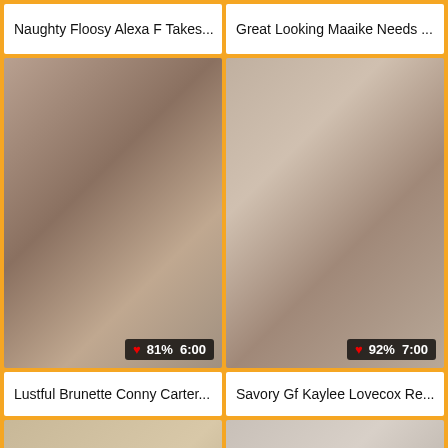Naughty Floosy Alexa F Takes...
Great Looking Maaike Needs ...
[Figure (photo): Video thumbnail showing couple, with badge: heart 81% 6:00]
[Figure (photo): Video thumbnail showing girl, with badge: heart 92% 7:00]
Lustful Brunette Conny Carter...
Savory Gf Kaylee Lovecox Re...
[Figure (photo): Video thumbnail showing couple on beach, with badge: heart 88% 7:00]
[Figure (photo): Video thumbnail showing couple on bed, with badge: heart 98% 5:00]